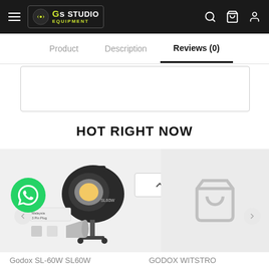[Figure (screenshot): Website header with Gs Studio Equipment logo, hamburger menu, search, cart, and user icons on dark background]
Gs STUDIO EQUIPMENT
Product   Description   Reviews (0)
HOT RIGHT NOW
[Figure (photo): Godox SL60W studio LED video light with accessories including reflector, Malaysia 3 Pin Plug label, and WhatsApp contact button]
[Figure (photo): Second product card with shopping cart icon placeholder]
Godox SL-60W SL60W
GODOX WITSTRO